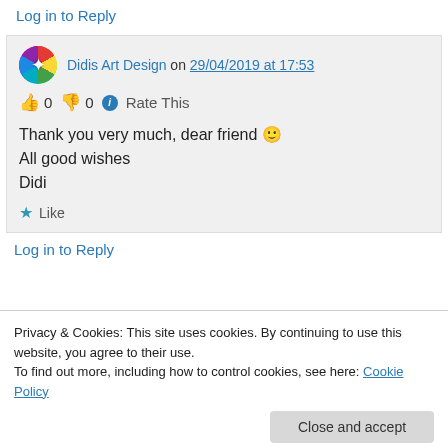Log in to Reply
Didis Art Design on 29/04/2019 at 17:53
👍 0 👎 0 ℹ Rate This
Thank you very much, dear friend 🙂
All good wishes
Didi
★ Like
Log in to Reply
Privacy & Cookies: This site uses cookies. By continuing to use this website, you agree to their use.
To find out more, including how to control cookies, see here: Cookie Policy
Close and accept
Good afternoon Didi, my spiritual world is very